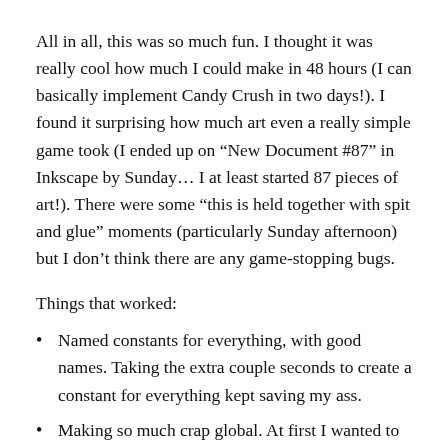All in all, this was so much fun. I thought it was really cool how much I could make in 48 hours (I can basically implement Candy Crush in two days!). I found it surprising how much art even a really simple game took (I ended up on “New Document #87” in Inkscape by Sunday… I at least started 87 pieces of art!). There were some “this is held together with spit and glue” moments (particularly Sunday afternoon) but I don’t think there are any game-stopping bugs.
Things that worked:
Named constants for everything, with good names. Taking the extra couple seconds to create a constant for everything kept saving my ass.
Making so much crap global. At first I wanted to carefully pass around just what I needed but then I just gave up and made almost everything global.